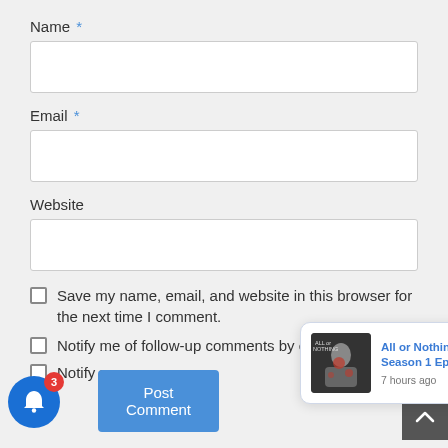Name *
Email *
Website
Save my name, email, and website in this browser for the next time I comment.
Notify me of follow-up comments by email.
Notify me o…
Post Comment
[Figure (screenshot): Notification popup showing 'All or Nothing: Arsenal Season 1 Episode 8' with thumbnail image and '7 hours ago' timestamp]
[Figure (screenshot): Blue bell notification icon with red badge showing count 3]
[Figure (screenshot): Dark scroll-to-top arrow button in bottom right corner]